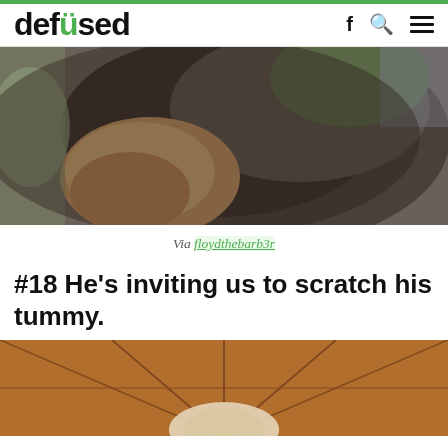defused
[Figure (photo): Close-up photo of a dog's back/side, showing dark brown and tan fur, taken from inside a car]
Via floydthebarb3r
#18 He's inviting us to scratch his tummy.
[Figure (photo): Photo of a dog lying on a wooden herringbone-patterned floor, showing its head and fluffy fur from above]